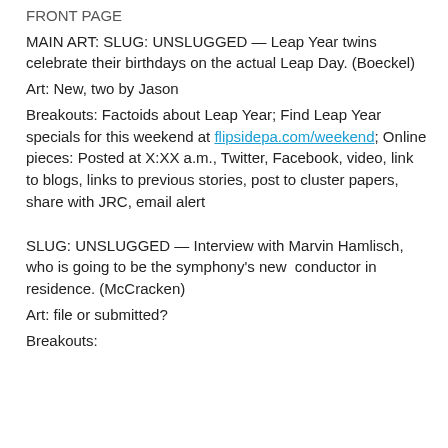FRONT PAGE
MAIN ART: SLUG: UNSLUGGED — Leap Year twins celebrate their birthdays on the actual Leap Day. (Boeckel)
Art: New, two by Jason
Breakouts: Factoids about Leap Year; Find Leap Year specials for this weekend at flipsidepa.com/weekend; Online pieces: Posted at X:XX a.m., Twitter, Facebook, video, link to blogs, links to previous stories, post to cluster papers, share with JRC, email alert
SLUG: UNSLUGGED — Interview with Marvin Hamlisch, who is going to be the symphony's new conductor in residence. (McCracken)
Art: file or submitted?
Breakouts: